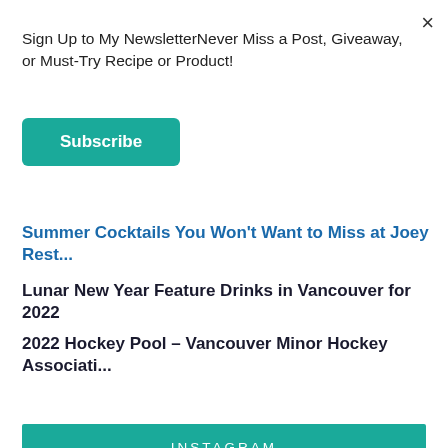×
Sign Up to My NewsletterNever Miss a Post, Giveaway, or Must-Try Recipe or Product!
Subscribe
Summer Cocktails You Won't Want to Miss at Joey Rest...
Lunar New Year Feature Drinks in Vancouver for 2022
2022 Hockey Pool – Vancouver Minor Hockey Associati...
INSTAGRAM